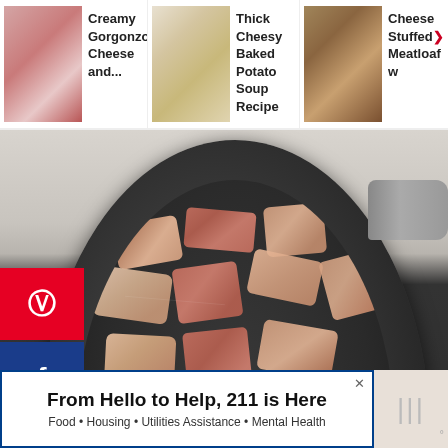[Figure (screenshot): Website header with three recipe navigation items: 'Creamy Gorgonzola Cheese and...', 'Thick Cheesy Baked Potato Soup Recipe', and 'Cheese Stuffed Meatloaf w...' each with a thumbnail photo]
Creamy Gorgonzola Cheese and...
Thick Cheesy Baked Potato Soup Recipe
Cheese Stuffed Meatloaf w
[Figure (photo): Dark non-stick frying pan viewed from above containing raw chunked bacon pieces on a marble/stone surface background]
[Figure (infographic): Social media share buttons sidebar: Pinterest (red), Facebook (dark blue), Twitter (light blue), Yummly (orange)]
[Figure (infographic): Right side action buttons: red heart/save button, share count '8', and share button with plus icon]
From Hello to Help, 211 is Here
Food • Housing • Utilities Assistance • Mental Health